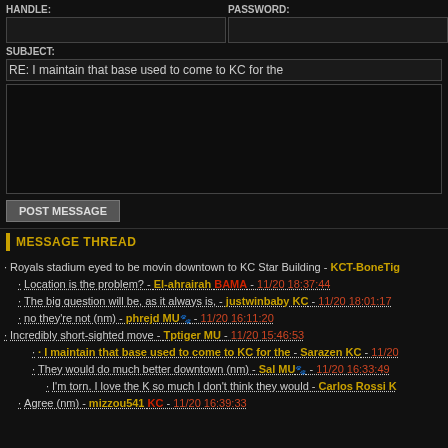HANDLE:
PASSWORD:
SUBJECT:
RE: I maintain that base used to come to KC for the
MESSAGE THREAD
Royals stadium eyed to be movin downtown to KC Star Building - KCT-BoneTig
Location is the problem? - El-ahrairah BAMA - 11/20 18:37:44
The big question will be, as it always is, - justwinbaby KC - 11/20 18:01:17
no they're not (nm) - phrejd MU - 11/20 16:11:20
Incredibly short-sighted move - Tptiger MU - 11/20 15:46:53
I maintain that base used to come to KC for the - Sarazen KC - 11/20
They would do much better downtown (nm) - Sal MU - 11/20 16:33:49
I'm torn. I love the K so much I don't think they would - Carlos Rossi K
Agree (nm) - mizzou541 KC - 11/20 16:39:33